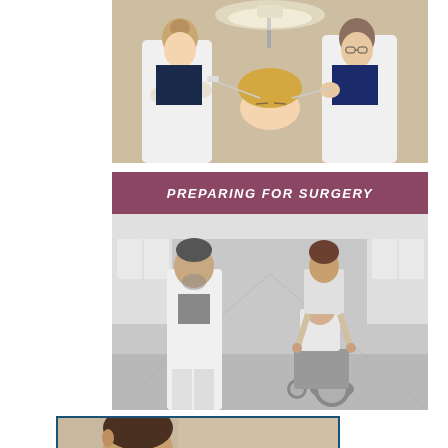[Figure (photo): Two medical professionals in white coats performing a facial injection procedure on a seated female patient under bright clinical lighting]
PREPARING FOR SURGERY
[Figure (photo): Black and white photo of a doctor in a white coat walking beside a female patient in a wheelchair being pushed by another woman in a hospital corridor]
[Figure (photo): Partial view of a person from behind, cropped, with a blue border frame, at the bottom of the page]